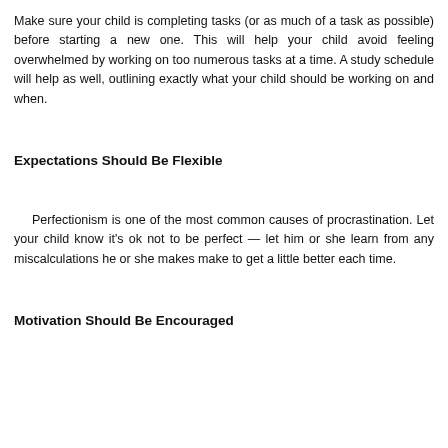Make sure your child is completing tasks (or as much of a task as possible) before starting a new one. This will help your child avoid feeling overwhelmed by working on too numerous tasks at a time. A study schedule will help as well, outlining exactly what your child should be working on and when.
Expectations Should Be Flexible
Perfectionism is one of the most common causes of procrastination. Let your child know it's ok not to be perfect — let him or she learn from any miscalculations he or she makes make to get a little better each time.
Motivation Should Be Encouraged